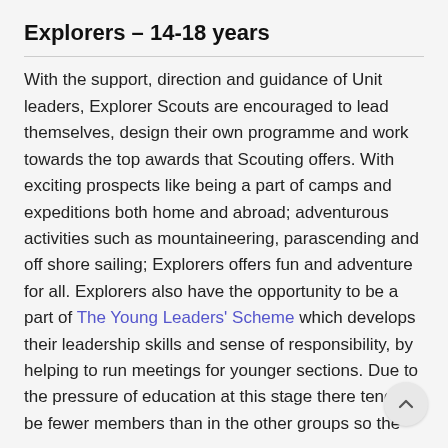Explorers – 14-18 years
With the support, direction and guidance of Unit leaders, Explorer Scouts are encouraged to lead themselves, design their own programme and work towards the top awards that Scouting offers. With exciting prospects like being a part of camps and expeditions both home and abroad; adventurous activities such as mountaineering, parascending and off shore sailing; Explorers offers fun and adventure for all. Explorers also have the opportunity to be a part of The Young Leaders' Scheme which develops their leadership skills and sense of responsibility, by helping to run meetings for younger sections. Due to the pressure of education at this stage there tend t… be fewer members than in the other groups so the